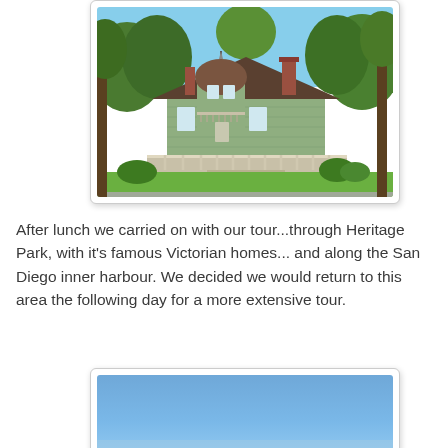[Figure (photo): Victorian house in Heritage Park, San Diego. A large Victorian-style home with a domed tower, wraparound porch, surrounded by trees and green lawn. Blue sky visible above.]
After lunch we carried on with our tour...through Heritage Park, with it's famous Victorian homes... and along the San Diego inner harbour. We decided we would return to this area the following day for a more extensive tour.
[Figure (photo): Partial photo showing blue sky, beginning of another image of San Diego inner harbour or related scene.]